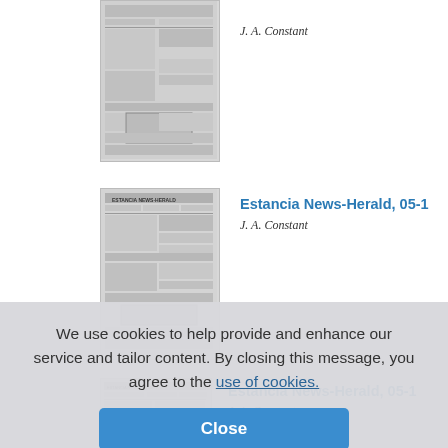[Figure (screenshot): Thumbnail image of a newspaper page (Estancia News-Herald front page), grayscale scan]
J. A. Constant
[Figure (screenshot): Thumbnail image of Estancia News-Herald newspaper front page, grayscale scan with 'ESTANCIA NEWS-HERALD' masthead visible]
Estancia News-Herald, 05-1...
J. A. Constant
[Figure (screenshot): Partial thumbnail of another Estancia News-Herald newspaper page, partially obscured by cookie consent overlay]
Estancia News-Herald, 05-1...
J. A. Constant
We use cookies to help provide and enhance our service and tailor content. By closing this message, you agree to the use of cookies.